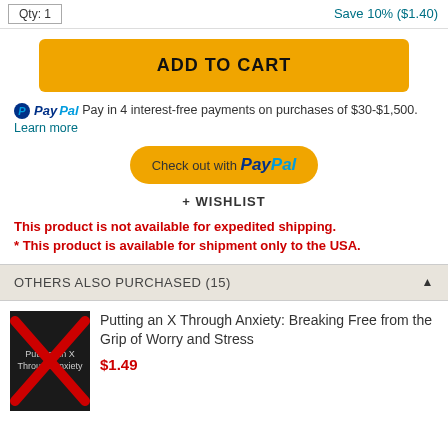Qty: 1 | Save 10% ($1.40)
ADD TO CART
PayPal Pay in 4 interest-free payments on purchases of $30-$1,500. Learn more
Check out with PayPal
+ WISHLIST
This product is not available for expedited shipping.
* This product is available for shipment only to the USA.
OTHERS ALSO PURCHASED (15)
Putting an X Through Anxiety: Breaking Free from the Grip of Worry and Stress
$1.49